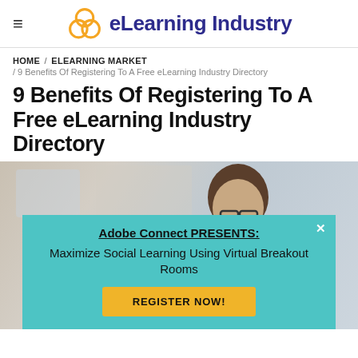eLearning Industry
HOME / ELEARNING MARKET / 9 Benefits Of Registering To A Free eLearning Industry Directory
9 Benefits Of Registering To A Free eLearning Industry Directory
[Figure (photo): A man wearing glasses looking down, seated in a bright office environment, partially visible.]
Adobe Connect PRESENTS: Maximize Social Learning Using Virtual Breakout Rooms
REGISTER NOW!